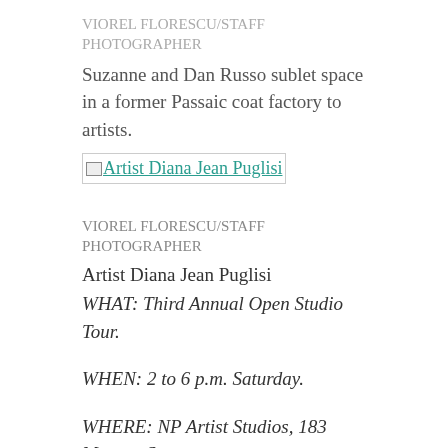VIOREL FLORESCU/STAFF PHOTOGRAPHER
Suzanne and Dan Russo sublet space in a former Passaic coat factory to artists.
[Figure (photo): Broken image placeholder link: Artist Diana Jean Puglisi]
VIOREL FLORESCU/STAFF PHOTOGRAPHER
Artist Diana Jean Puglisi
WHAT: Third Annual Open Studio Tour.
WHEN: 2 to 6 p.m. Saturday.
WHERE: NP Artist Studios, 183 Monroe St., Passaic.